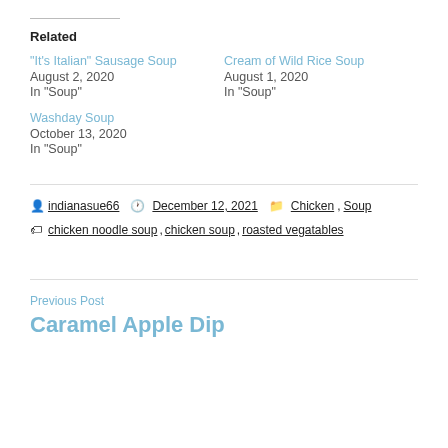Related
"It's Italian" Sausage Soup
August 2, 2020
In "Soup"
Cream of Wild Rice Soup
August 1, 2020
In "Soup"
Washday Soup
October 13, 2020
In "Soup"
By indianasue66  December 12, 2021  Chicken, Soup
Tags: chicken noodle soup, chicken soup, roasted vegatables
Previous Post
Caramel Apple Dip